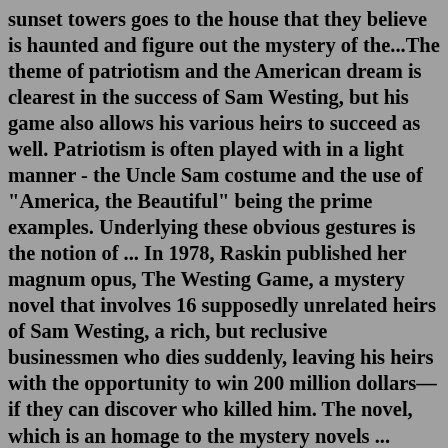sunset towers goes to the house that they believe is haunted and figure out the mystery of the...The theme of patriotism and the American dream is clearest in the success of Sam Westing, but his game also allows his various heirs to succeed as well. Patriotism is often played with in a light manner - the Uncle Sam costume and the use of "America, the Beautiful" being the prime examples. Underlying these obvious gestures is the notion of ... In 1978, Raskin published her magnum opus, The Westing Game, a mystery novel that involves 16 supposedly unrelated heirs of Sam Westing, a rich, but reclusive businessmen who dies suddenly, leaving his heirs with the opportunity to win 200 million dollars—if they can discover who killed him. The novel, which is an homage to the mystery novels ... When eccentric millionaire Sam Westing dies, he leaves instructions for sixteen people to come to the reading of his will. With a fortune on the line, Westing's death becomes a puzzle they'll race to solve. Here are links to our lists for the novel: Chapters 1-7, Chapters 8-14, Chapters 15-22...